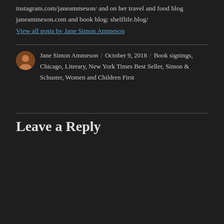instagram.com/janeammeson/ and on her travel and food blog janeammeson.com and book blog: shelflife.blog/
View all posts by Jane Simon Ammeson
Jane Simon Ammeson / October 9, 2018 / Book signings, Chicago, Literary, New York Times Best Seller, Simon & Schuster, Women and Children First
Leave a Reply